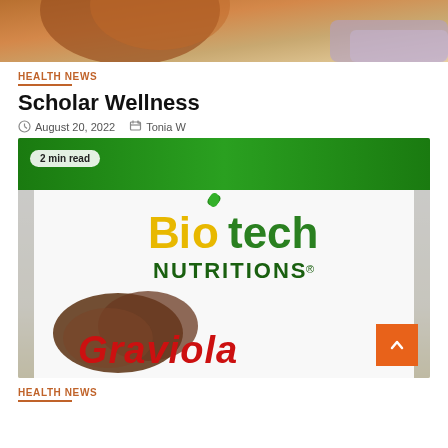[Figure (photo): Partial photo of a person with reddish-orange hair/background, cropped at top of page]
HEALTH NEWS
Scholar Wellness
August 20, 2022   Tonia W
[Figure (photo): Photo of a Biotech Nutritions Graviola product can with green and white label, red text reading Graviola]
2 min read
HEALTH NEWS